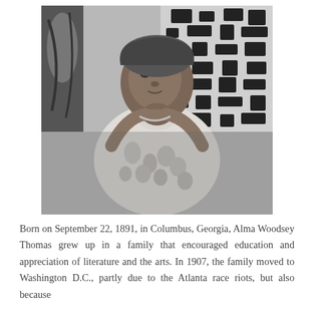[Figure (photo): Black and white photograph of an elderly woman, Alma Woodsey Thomas, seated with her hands clasped under her chin, wearing a floral patterned blouse. Behind her is a patterned artwork with mosaic-like shapes.]
Born on September 22, 1891, in Columbus, Georgia, Alma Woodsey Thomas grew up in a family that encouraged education and appreciation of literature and the arts. In 1907, the family moved to Washington D.C., partly due to the Atlanta race riots, but also because